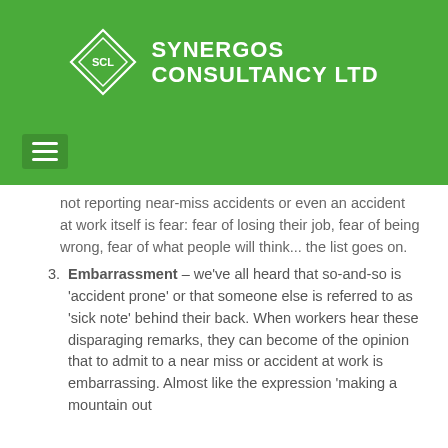[Figure (logo): Synergos Consultancy Ltd logo on green background with diamond SCL emblem and white text]
not reporting near-miss accidents or even an accident at work itself is fear: fear of losing their job, fear of being wrong, fear of what people will think... the list goes on.
3. Embarrassment – we've all heard that so-and-so is 'accident prone' or that someone else is referred to as 'sick note' behind their back. When workers hear these disparaging remarks, they can become of the opinion that to admit to a near miss or accident at work is embarrassing. Almost like the expression 'making a mountain out